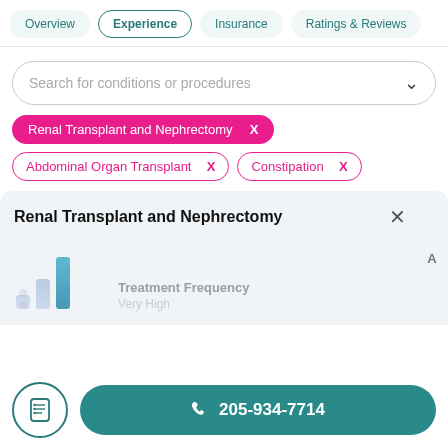Overview | Experience | Insurance | Ratings & Reviews
Search for conditions or procedures
Renal Transplant and Nephrectomy  X
Abdominal Organ Transplant  X
Constipation  X
Renal Transplant and Nephrectomy
Treatment Frequency
Very High
205-934-7714